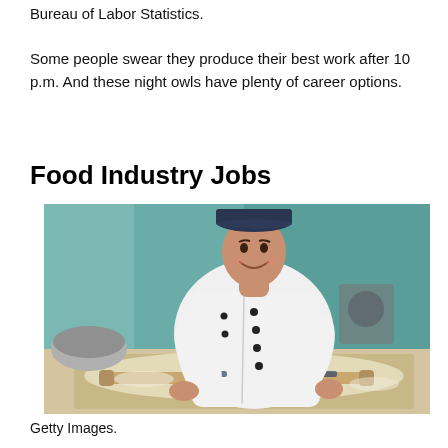Bureau of Labor Statistics.
Some people swear they produce their best work after 10 p.m. And these night owls have plenty of career options.
Food Industry Jobs
[Figure (photo): A smiling chef in white uniform and dark cap rolling dough on a table in a kitchen with teal-colored walls and kitchen equipment in the background.]
Getty Images.